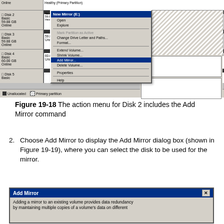[Figure (screenshot): Windows Disk Management window showing disk list with Disk 2, Disk 3, Disk 4, Disk 5, and a right-click context menu on the New Mirror (E:) partition with options Open, Explore, Mark Partition as Active, Change Drive Letter and Paths, Format, Extend Volume, Shrink Volume, Add Mirror (highlighted), Delete Volume, Properties, Help]
Figure 19-18 The action menu for Disk 2 includes the Add Mirror command
Choose Add Mirror to display the Add Mirror dialog box (shown in Figure 19-19), where you can select the disk to be used for the mirror.
[Figure (screenshot): Add Mirror dialog box with title bar and X close button, with text 'Adding a mirror to an existing volume provides data redundancy by maintaining multiple copies of a volume's data on different']